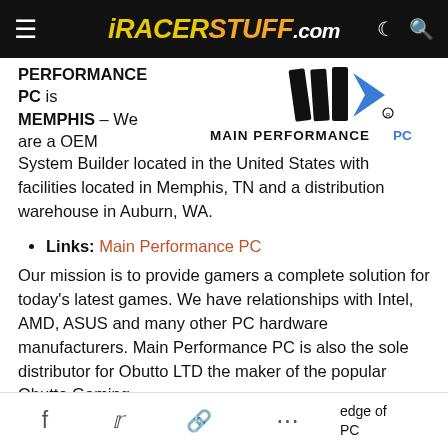iRACERSTUFF.com
PERFORMANCE PC is MEMPHIS – We are a OEM System Builder located in the United States with facilities located in Memphis, TN and a distribution warehouse in Auburn, WA.
[Figure (logo): Main Performance PC logo with stylized M arrow graphic and blue arrow, text reads MAIN PERFORMANCE PC]
Links: Main Performance PC
Our mission is to provide gamers a complete solution for today's latest games. We have relationships with Intel, AMD, ASUS and many other PC hardware manufacturers. Main Performance PC is also the sole distributor for Obutto LTD the maker of the popular Obutto Gaming
f  (twitter)  (link)  ...  edge of  PC